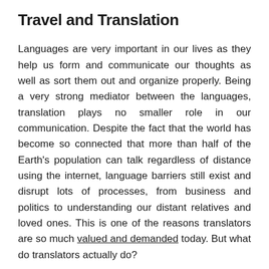Travel and Translation
Languages are very important in our lives as they help us form and communicate our thoughts as well as sort them out and organize properly. Being a very strong mediator between the languages, translation plays no smaller role in our communication. Despite the fact that the world has become so connected that more than half of the Earth's population can talk regardless of distance using the internet, language barriers still exist and disrupt lots of processes, from business and politics to understanding our distant relatives and loved ones. This is one of the reasons translators are so much valued and demanded today. But what do translators actually do?
A translation job is not as boring as it might seem as it